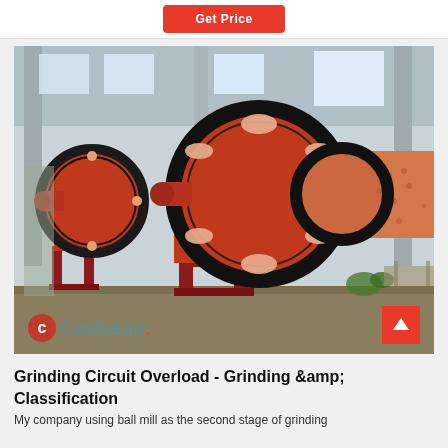[Figure (other): Red 'Get Price' button on white bar at top of page]
[Figure (photo): Industrial ball mill grinding equipment in a factory setting. Two large orange ball mills with black gear rings visible. Branded with Costsean watermark logo in lower left corner. A red scroll-to-top arrow button visible in lower right corner.]
Grinding Circuit Overload - Grinding &amp; Classification
My company using ball mill as the second stage of grinding